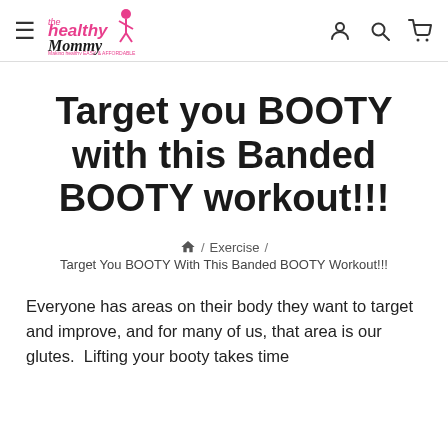the healthy Mommy — Making healthy EASY & AFFORDABLE
Target you BOOTY with this Banded BOOTY workout!!!
🏠 / Exercise / Target You BOOTY With This Banded BOOTY Workout!!!
Everyone has areas on their body they want to target and improve, and for many of us, that area is our glutes.  Lifting your booty takes time